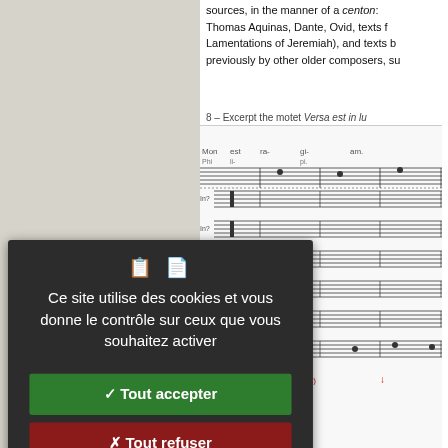sources, in the manner of a centon: Thomas Aquinas, Dante, Ovid, texts from Lamentations of Jeremiah), and texts by previously by other older composers, su
8 – Excerpt the motet Versa est in lu
[Figure (illustration): Musical score notation showing multiple staves of the motet Versa est in luc]
Original (jpeg, 152k)
1 – Origin of the verses of the mote
Ce site utilise des cookies et vous donne le contrôle sur ceux que vous souhaitez activer
✓ Tout accepter
✗ Tout refuser
Personnaliser
Politique de confidentialité